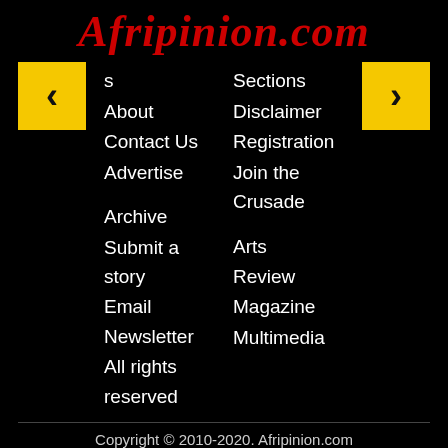Afripinion.com
s
Sections
About
Disclaimer
Contact Us
Registration
Advertise
Join the Crusade
Archive
Arts
Submit a story
Review
Email Newsletter
Magazine
All rights reserved
Multimedia
Copyright © 2010-2020. Afripinion.com
Help   Work With Us   Site Map   RSS
Privacy Terms   Terms and Conditions